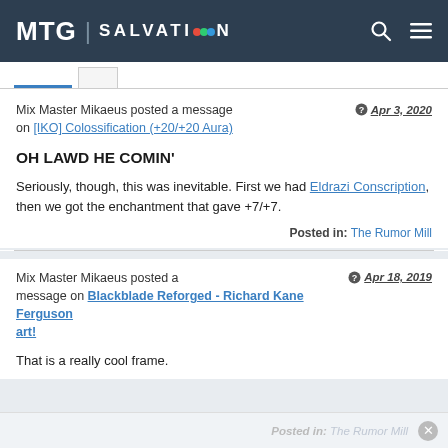MTG SALVATION
Mix Master Mikaeus posted a message on [IKO] Colossification (+20/+20 Aura)
Apr 3, 2020
OH LAWD HE COMIN'
Seriously, though, this was inevitable. First we had Eldrazi Conscription, then we got the enchantment that gave +7/+7.
Posted in: The Rumor Mill
Mix Master Mikaeus posted a message on Blackblade Reforged - Richard Kane Ferguson art!
Apr 18, 2019
That is a really cool frame.
Posted in: The Rumor Mill